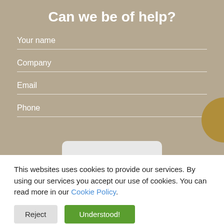Can we be of help?
Your name
Company
Email
Phone
This websites uses cookies to provide our services. By using our services you accept our use of cookies. You can read more in our Cookie Policy.
Reject
Understood!